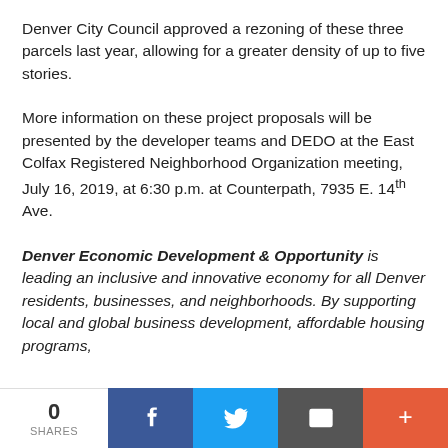Denver City Council approved a rezoning of these three parcels last year, allowing for a greater density of up to five stories.
More information on these project proposals will be presented by the developer teams and DEDO at the East Colfax Registered Neighborhood Organization meeting, July 16, 2019, at 6:30 p.m. at Counterpath, 7935 E. 14th Ave.
Denver Economic Development & Opportunity is leading an inclusive and innovative economy for all Denver residents, businesses, and neighborhoods. By supporting local and global business development, affordable housing programs,
0 SHARES